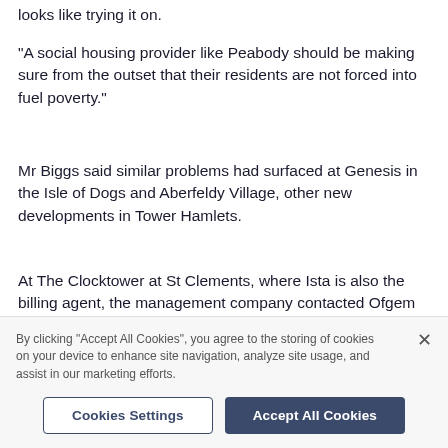looks like trying it on.
"A social housing provider like Peabody should be making sure from the outset that their residents are not forced into fuel poverty."
Mr Biggs said similar problems had surfaced at Genesis in the Isle of Dogs and Aberfeldy Village, other new developments in Tower Hamlets.
At The Clocktower at St Clements, where Ista is also the billing agent, the management company contacted Ofgem and secured a 25 per cent reduction on their
By clicking “Accept All Cookies”, you agree to the storing of cookies on your device to enhance site navigation, analyze site usage, and assist in our marketing efforts.